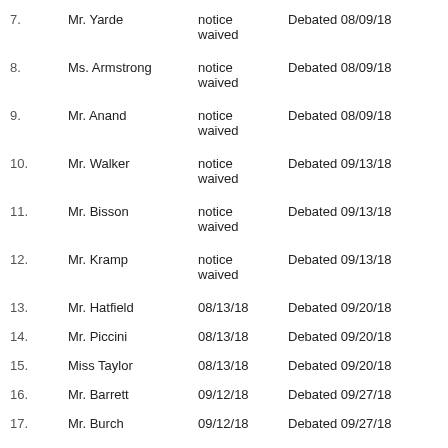7. Mr. Yarde notice waived Debated 08/09/18
8. Ms. Armstrong notice waived Debated 08/09/18
9. Mr. Anand notice waived Debated 08/09/18
10. Mr. Walker notice waived Debated 09/13/18
11. Mr. Bisson notice waived Debated 09/13/18
12. Mr. Kramp notice waived Debated 09/13/18
13. Mr. Hatfield 08/13/18 Debated 09/20/18
14. Mr. Piccini 08/13/18 Debated 09/20/18
15. Miss Taylor 08/13/18 Debated 09/20/18
16. Mr. Barrett 09/12/18 Debated 09/27/18
17. Mr. Burch 09/12/18 Debated 09/27/18